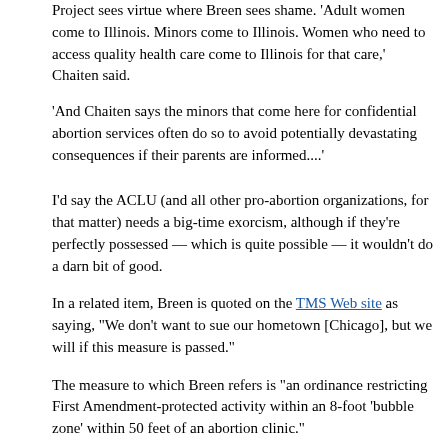Project sees virtue where Breen sees shame. 'Adult women come to Illinois. Minors come to Illinois. Women who need to access quality health care come to Illinois for that care,' Chaiten said.
'And Chaiten says the minors that come here for confidential abortion services often do so to avoid potentially devastating consequences if their parents are informed....'
I'd say the ACLU (and all other pro-abortion organizations, for that matter) needs a big-time exorcism, although if they're perfectly possessed — which is quite possible — it wouldn't do a darn bit of good.
In a related item, Breen is quoted on the TMS Web site as saying, "We don't want to sue our hometown [Chicago], but we will if this measure is passed."
The measure to which Breen refers is "an ordinance restricting First Amendment-protected activity within an 8-foot 'bubble zone' within 50 feet of an abortion clinic."